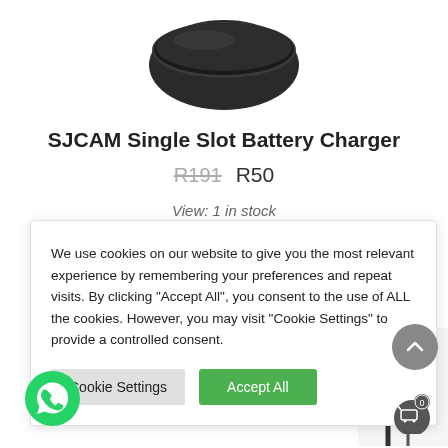[Figure (photo): Partial product image of SJCAM Single Slot Battery Charger at top of page]
SJCAM Single Slot Battery Charger
R191  R50
View: 1 in stock
We use cookies on our website to give you the most relevant experience by remembering your preferences and repeat visits. By clicking "Accept All", you consent to the use of ALL the cookies. However, you may visit "Cookie Settings" to provide a controlled consent.
Cookie Settings
Accept All